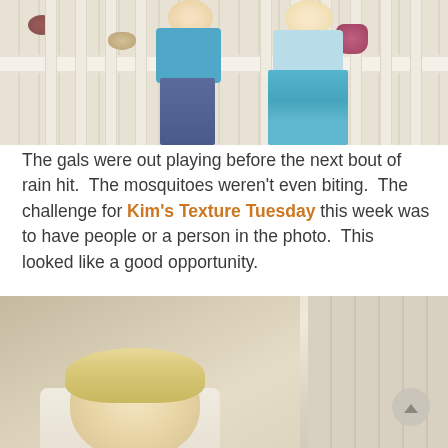[Figure (photo): Two children (girls) standing on a white porch railing, one wearing a teal shirt with jeans and one wearing a light top with a layered blue skirt. White wooden porch spindles visible. A purple/red dish is on the left of the railing and a pink cup on the right.]
The gals were out playing before the next bout of rain hit. The mosquitoes weren't even biting. The challenge for Kim's Texture Tuesday this week was to have people or a person in the photo. This looked like a good opportunity.
[Figure (photo): Close-up photo of a blonde child (young girl) lying down or leaning forward, seen from above/behind showing the top and back of the head with light blonde hair. Rustic wooden wall paneling visible in the background on the right side.]